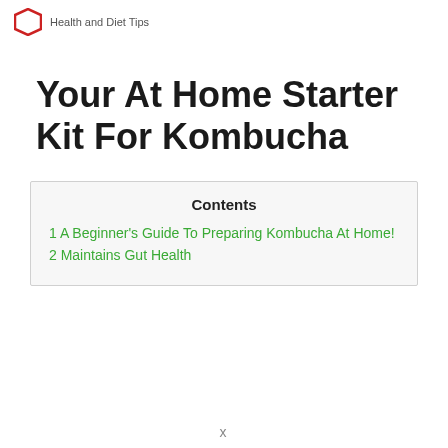Health and Diet Tips
Your At Home Starter Kit For Kombucha
| Contents |
| --- |
| 1 A Beginner's Guide To Preparing Kombucha At Home! |
| 2 Maintains Gut Health |